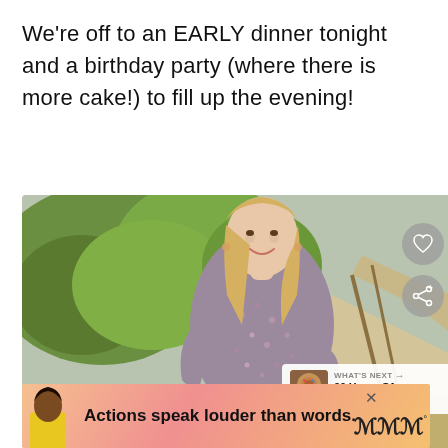We're off to an EARLY dinner tonight and a birthday party (where there is more cake!) to fill up the evening!
[Figure (photo): Smiling blonde woman in a floral long-sleeve dress posing outdoors with greenery and sandy path behind her. UI overlays: heart and share buttons on the right, 'What's Next' card showing '30 Years Of Sprinkles' at bottom right.]
[Figure (infographic): Advertisement banner with coral/pink gradient background, a person on the left side, bold text 'Actions speak louder than words.' in the center, a close (X) button, and a logo on the right.]